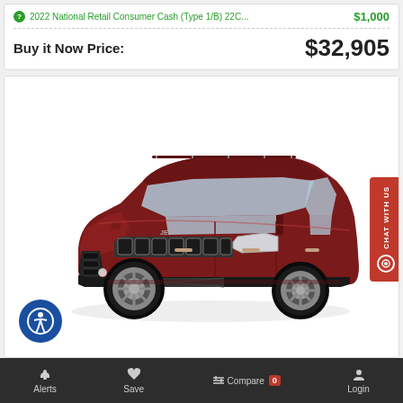2022 National Retail Consumer Cash (Type 1/B) 22C...  $1,000
Buy it Now Price:  $32,905
[Figure (photo): Dark red/maroon 2022 Jeep Compass SUV shown in a 3/4 front-left view on a white background]
Alerts  Save  Compare 0  Login